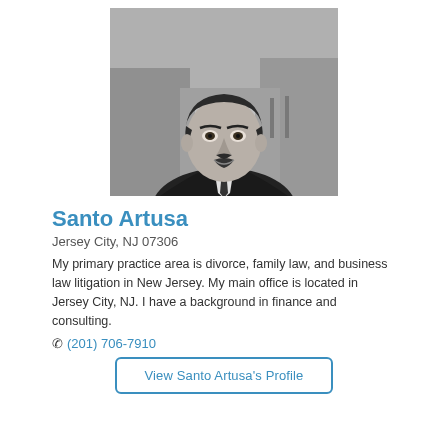[Figure (photo): Black and white portrait photo of Santo Artusa, a man in a dark suit and tie, smiling outdoors.]
Santo Artusa
Jersey City, NJ 07306
My primary practice area is divorce, family law, and business law litigation in New Jersey. My main office is located in Jersey City, NJ. I have a background in finance and consulting.
📞 (201) 706-7910
View Santo Artusa's Profile